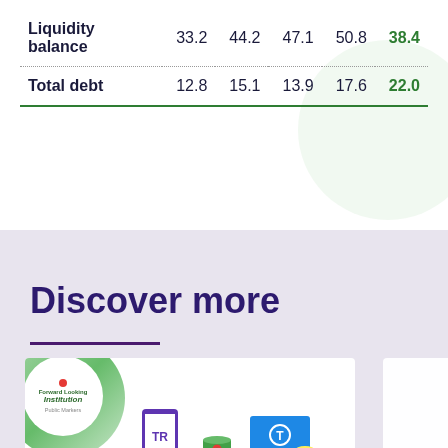|  |  |  |  |  |  |
| --- | --- | --- | --- | --- | --- |
| Liquidity balance | 33.2 | 44.2 | 47.1 | 50.8 | 38.4 |
| Total debt | 12.8 | 15.1 | 13.9 | 17.6 | 22.0 |
Discover more
[Figure (illustration): A promotional card showing 'Forward Looking Institution - Public Markers' with green circular design, a mobile phone with TR label, stacked coins with a dollar lock, and a blue card with T symbol and coins]